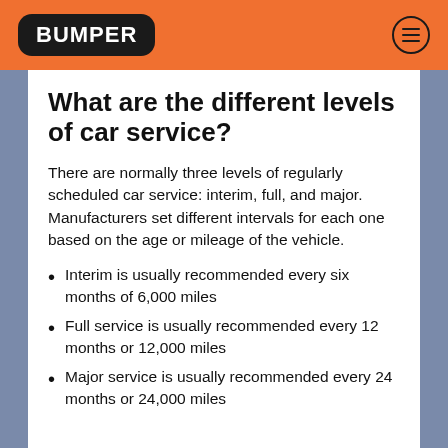BUMPER
What are the different levels of car service?
There are normally three levels of regularly scheduled car service: interim, full, and major. Manufacturers set different intervals for each one based on the age or mileage of the vehicle.
Interim is usually recommended every six months of 6,000 miles
Full service is usually recommended every 12 months or 12,000 miles
Major service is usually recommended every 24 months or 24,000 miles